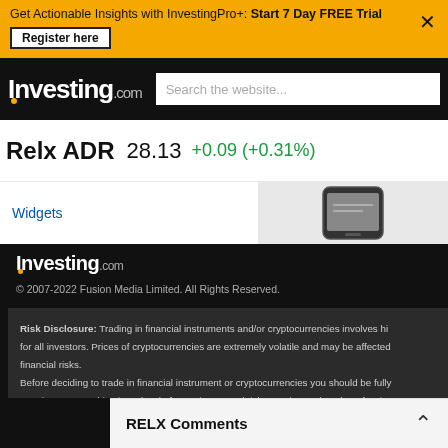Get Actionable Insights with InvestingPro+: Start 7 Day FREE Trial  Register here
[Figure (screenshot): Investing.com logo and search bar on dark navbar]
Relx ADR  28.13  +0.09 (+0.31%)
Widgets
[Figure (photo): Mobile phone image in upper right corner]
[Figure (logo): Investing.com footer logo on dark background]
© 2007-2022 Fusion Media Limited. All Rights Reserved.
Risk Disclosure: Trading in financial instruments and/or cryptocurrencies involves hi for all investors. Prices of cryptocurrencies are extremely volatile and may be affected financial risks. Before deciding to trade in financial instrument or cryptocurrencies you should be fully your investment objectives, level of experience, and risk appetite, and seek professio Fusion Media would like to remind you that the data contained in this website is not n by any market or exchange, but may be provided by market makers, and so prices m indicative and not appropriate for trading purposes. Fusion Media and any provider of trading, or your reliance on the information contained within this website. It is prohibited to use, store, reproduce, display, modify, transmit or distribute the data data provider. All intellectual property rights are reserved by the providers and/or the a Fusion Media may be compensated by the advertisers that appear on the website, ba
RELX Comments